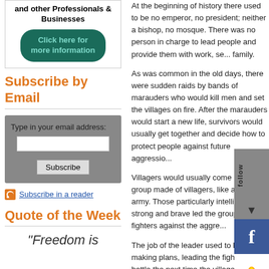[Figure (other): Advertisement box with text 'and other Professionals & Businesses' and a dark teal rounded button 'Click here for more information']
Subscribe by Email
[Figure (other): Email subscription widget with gray background, label 'Type in your email address:', a text input box, and a Subscribe button]
Subscribe in a reader
Quote of the Week
“Freedom is
At the beginning of history there used to be... no emperor, no president; neither a bishop... mosque. There was no person in charge... people and provide them with work, se... family.
As was common in the old days... and sudden raids by bands of m... kill men and set the villages on... marauders would start a new li... usually get together and decide... people against future aggressio...
Villagers would usually come u... made of villagers, like a small a... particularly intelligent, strong an... the group of fighters against the aggre...
The job of the leader used to be makin... leading the fighters into battle the next... time the village came under attack, the... fight and fend off the aggressors.
[Figure (other): Social media follow bar on the right edge with Follow label, Facebook icon, Hotspot/Fire icon, and Twitter icon]